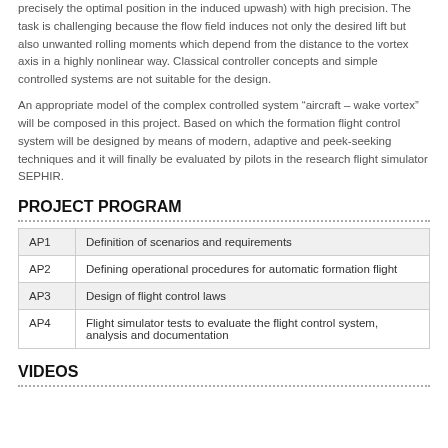precisely the optimal position in the induced upwash) with high precision. The task is challenging because the flow field induces not only the desired lift but also unwanted rolling moments which depend from the distance to the vortex axis in a highly nonlinear way. Classical controller concepts and simple controlled systems are not suitable for the design.
An appropriate model of the complex controlled system “aircraft – wake vortex” will be composed in this project. Based on which the formation flight control system will be designed by means of modern, adaptive and peek-seeking techniques and it will finally be evaluated by pilots in the research flight simulator SEPHIR.
PROJECT PROGRAM
|  |  |
| --- | --- |
| AP1 | Definition of scenarios and requirements |
| AP2 | Defining operational procedures for automatic formation flight |
| AP3 | Design of flight control laws |
| AP4 | Flight simulator tests to evaluate the flight control system, analysis and documentation |
VIDEOS